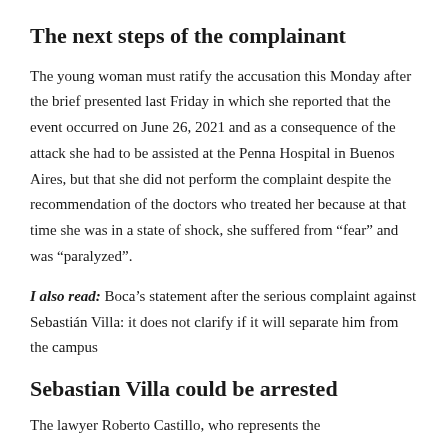The next steps of the complainant
The young woman must ratify the accusation this Monday after the brief presented last Friday in which she reported that the event occurred on June 26, 2021 and as a consequence of the attack she had to be assisted at the Penna Hospital in Buenos Aires, but that she did not perform the complaint despite the recommendation of the doctors who treated her because at that time she was in a state of shock, she suffered from “fear” and was “paralyzed”.
I also read: Boca’s statement after the serious complaint against Sebastián Villa: it does not clarify if it will separate him from the campus
Sebastian Villa could be arrested
The lawyer Roberto Castillo, who represents the...